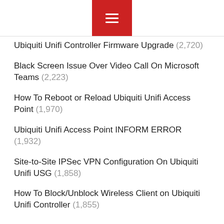[Figure (other): Red hamburger menu button centered at top of page]
Ubiquiti Unifi Controller Firmware Upgrade (2,720)
Black Screen Issue Over Video Call On Microsoft Teams (2,223)
How To Reboot or Reload Ubiquiti Unifi Access Point (1,970)
Ubiquiti Unifi Access Point INFORM ERROR (1,932)
Site-to-Site IPSec VPN Configuration On Ubiquiti Unifi USG (1,858)
How To Block/Unblock Wireless Client on Ubiquiti Unifi Controller (1,855)